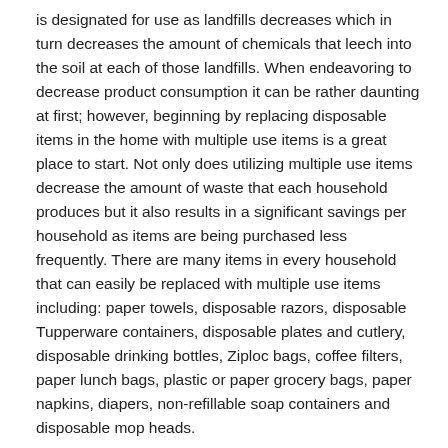is designated for use as landfills decreases which in turn decreases the amount of chemicals that leech into the soil at each of those landfills. When endeavoring to decrease product consumption it can be rather daunting at first; however, beginning by replacing disposable items in the home with multiple use items is a great place to start. Not only does utilizing multiple use items decrease the amount of waste that each household produces but it also results in a significant savings per household as items are being purchased less frequently. There are many items in every household that can easily be replaced with multiple use items including: paper towels, disposable razors, disposable Tupperware containers, disposable plates and cutlery, disposable drinking bottles, Ziploc bags, coffee filters, paper lunch bags, plastic or paper grocery bags, paper napkins, diapers, non-refillable soap containers and disposable mop heads.